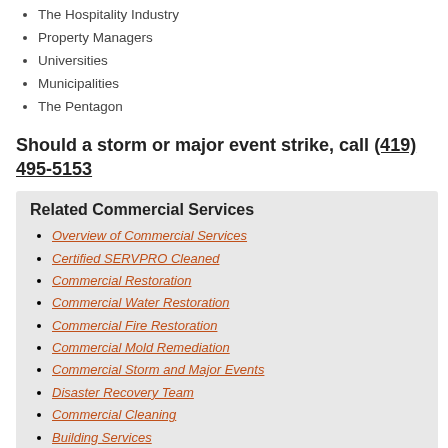The Hospitality Industry
Property Managers
Universities
Municipalities
The Pentagon
Should a storm or major event strike, call (419) 495-5153
Related Commercial Services
Overview of Commercial Services
Certified SERVPRO Cleaned
Commercial Restoration
Commercial Water Restoration
Commercial Fire Restoration
Commercial Mold Remediation
Commercial Storm and Major Events
Disaster Recovery Team
Commercial Cleaning
Building Services